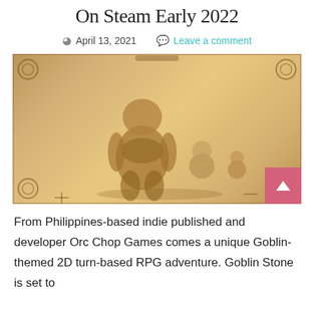On Steam Early 2022
April 13, 2021   Leave a comment
[Figure (illustration): Parchment-style illustration featuring a large orc/goblin character and two smaller goblin characters on a golden-brown textured background with decorative border elements. A pink scroll-to-top button appears in the bottom-right corner.]
From Philippines-based indie published and developer Orc Chop Games comes a unique Goblin-themed 2D turn-based RPG adventure. Goblin Stone is set to